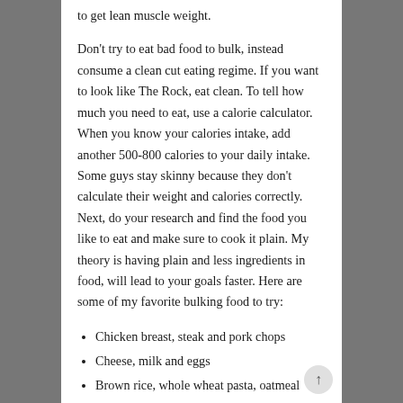to get lean muscle weight.
Don't try to eat bad food to bulk, instead consume a clean cut eating regime. If you want to look like The Rock, eat clean. To tell how much you need to eat, use a calorie calculator. When you know your calories intake, add another 500-800 calories to your daily intake. Some guys stay skinny because they don't calculate their weight and calories correctly. Next, do your research and find the food you like to eat and make sure to cook it plain. My theory is having plain and less ingredients in food, will lead to your goals faster. Here are some of my favorite bulking food to try:
Chicken breast, steak and pork chops
Cheese, milk and eggs
Brown rice, whole wheat pasta, oatmeal
Quinoa, sweet potato